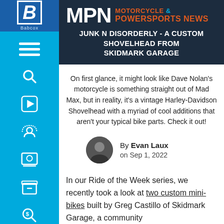MPN MOTORCYCLE & POWERSPORTS NEWS
JUNK N DISORDERLY - A CUSTOM SHOVELHEAD FROM SKIDMARK GARAGE
On first glance, it might look like Dave Nolan's motorcycle is something straight out of Mad Max, but in reality, it's a vintage Harley-Davidson Shovelhead with a myriad of cool additions that aren't your typical bike parts. Check it out!
By Evan Laux on Sep 1, 2022
In our Ride of the Week series, we recently took a look at two custom mini-bikes built by Greg Castillo of Skidmark Garage, a community